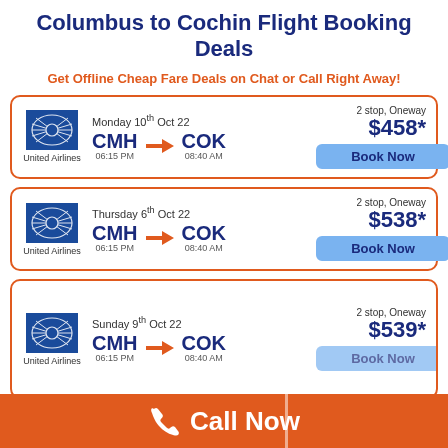Columbus to Cochin Flight Booking Deals
Get Offline Cheap Fare Deals on Chat or Call Right Away!
| Airline | Date | Route | Stops | Price |
| --- | --- | --- | --- | --- |
| United Airlines | Monday 10th Oct 22 | CMH 06:15 PM → COK 08:40 AM | 2 stop, Oneway | $458* |
| United Airlines | Thursday 6th Oct 22 | CMH 06:15 PM → COK 08:40 AM | 2 stop, Oneway | $538* |
| United Airlines | Sunday 9th Oct 22 | CMH 06:15 PM → COK 08:40 AM | 2 stop, Oneway | $539* |
Call Now